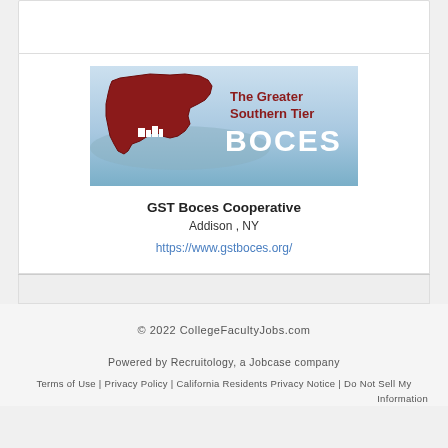[Figure (logo): The Greater Southern Tier BOCES logo — red silhouette of New York State with white buildings, text 'The Greater Southern Tier BOCES' on blue sky/water background]
GST Boces Cooperative
Addison , NY
https://www.gstboces.org/
© 2022 CollegeFacultyJobs.com
Powered by Recruitology, a Jobcase company
Terms of Use | Privacy Policy | California Residents Privacy Notice | Do Not Sell My Information